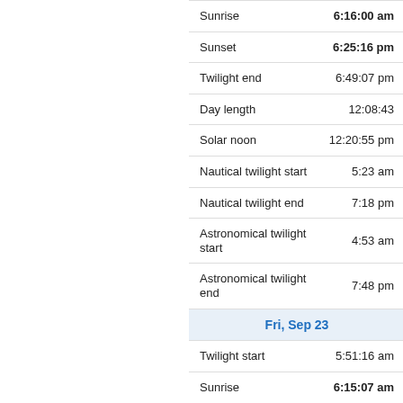| Event | Time |
| --- | --- |
| Sunrise | 6:16:00 am |
| Sunset | 6:25:16 pm |
| Twilight end | 6:49:07 pm |
| Day length | 12:08:43 |
| Solar noon | 12:20:55 pm |
| Nautical twilight start | 5:23 am |
| Nautical twilight end | 7:18 pm |
| Astronomical twilight start | 4:53 am |
| Astronomical twilight end | 7:48 pm |
| Fri, Sep 23 |  |
| Twilight start | 5:51:16 am |
| Sunrise | 6:15:07 am |
| Sunset | 6:26:00 pm |